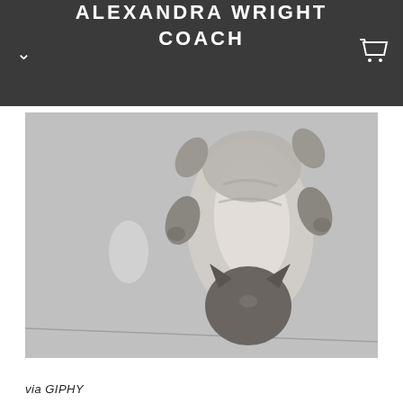ALEXANDRA WRIGHT COACH
[Figure (photo): Black and white photo of a cat lying on its back on a tiled floor, viewed from above, with paws spread out.]
via GIPHY